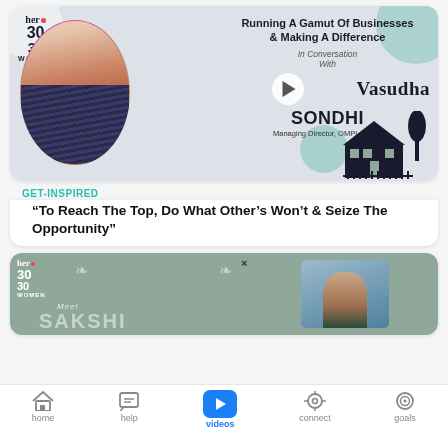[Figure (screenshot): Her 30 Women promotional banner featuring Vasudha Sondhi, Managing Director OMPL Group, with text 'Running A Gamut Of Businesses & Making A Difference, In Conversation With Vasudha SONDHI']
GET-INSPIRED
“To Reach The Top, Do What Other’s Won’t & Seize The Opportunity”
[Figure (screenshot): Her 30 Women banner for Meet SAKSHI with sage green background, leaf decorations, and video thumbnail]
home   help   videos   connect   goals